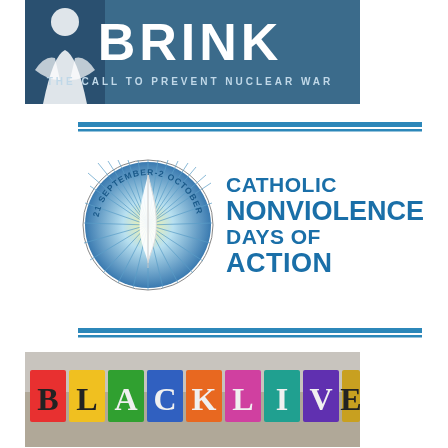[Figure (logo): BRINK - THE CALL TO PREVENT NUCLEAR WAR banner logo with blue background and person silhouette]
[Figure (logo): Catholic Nonviolence Days of Action logo, 21 September-2 October, circular badge with feather and radiating lines]
[Figure (photo): People holding colorful signs spelling out BLACK LIVES]